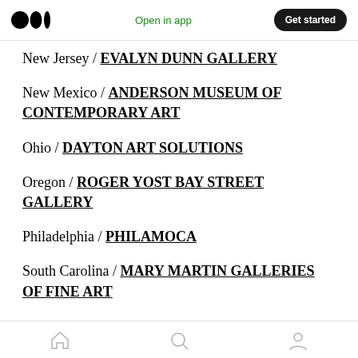Medium logo | Open in app | Get started
New Jersey / EVALYN DUNN GALLERY
New Mexico / ANDERSON MUSEUM OF CONTEMPORARY ART
Ohio / DAYTON ART SOLUTIONS
Oregon / ROGER YOST BAY STREET GALLERY
Philadelphia / PHILAMOCA
South Carolina / MARY MARTIN GALLERIES OF FINE ART
Home | Search | Profile